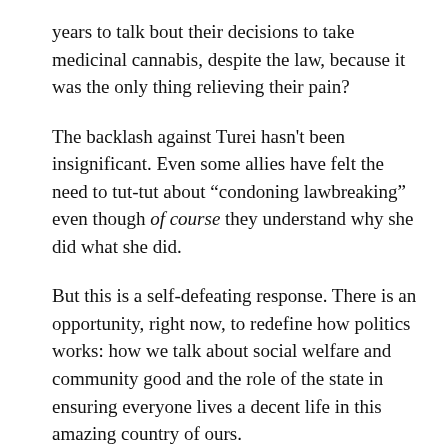years to talk bout their decisions to take medicinal cannabis, despite the law, because it was the only thing relieving their pain?
The backlash against Turei hasn't been insignificant. Even some allies have felt the need to tut-tut about “condoning lawbreaking” even though of course they understand why she did what she did.
But this is a self-defeating response. There is an opportunity, right now, to redefine how politics works: how we talk about social welfare and community good and the role of the state in ensuring everyone lives a decent life in this amazing country of ours.
All it takes is framing the debate differently. Not engaging with the arguments about political point-scoring or the importance of The Rule Of Law (a concept